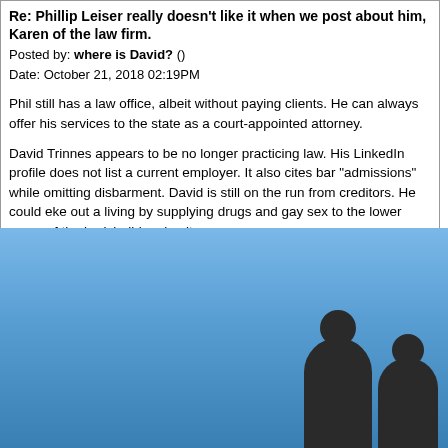Re: Phillip Leiser really doesn't like it when we post about him, Karen of the law firm.
Posted by: where is David? ()
Date: October 21, 2018 02:19PM
Phil still has a law office, albeit without paying clients. He can always offer his services to the state as a court-appointed attorney.
David Trinnes appears to be no longer practicing law. His LinkedIn profile does not list a current employer. It also cites bar "admissions" while omitting disbarment. David is still on the run from creditors. He could eke out a living by supplying drugs and gay sex to the lower rungs of the bodybuilder circuit.
Attachments:
[Figure (photo): Outdoor photo against a blue sky background showing two men with sunglasses at the bottom right of the frame.]